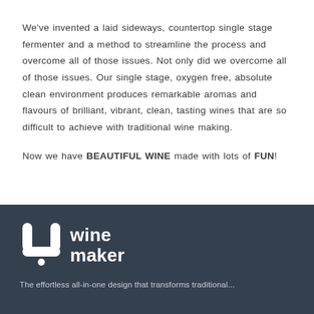We've invented a laid sideways, countertop single stage fermenter and a method to streamline the process and overcome all of those issues. Not only did we overcome all of those issues. Our single stage, oxygen free, absolute clean environment produces remarkable aromas and flavours of brilliant, vibrant, clean, tasting wines that are so difficult to achieve with traditional wine making.

Now we have BEAUTIFUL WINE made with lots of FUN!
[Figure (logo): U Winemaker logo — stylized U shape icon in white with 'wine maker' text in white on dark navy background]
The effortless all-in-one design that transforms traditional...